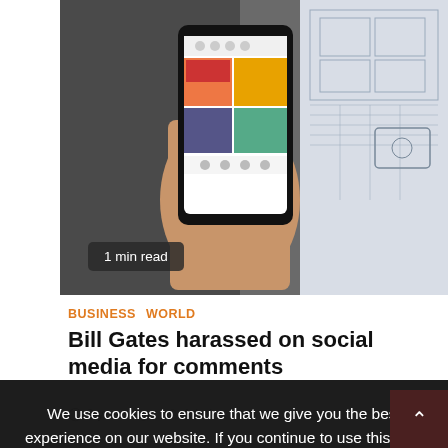[Figure (photo): A hand holding a smartphone showing a social media app (Instagram-like), next to technical blueprint/engineering drawings on paper]
1 min read
BUSINESS  WORLD
Bill Gates harassed on social media for comments
2 years ago   Admin
We use cookies to ensure that we give you the best experience on our website. If you continue to use this site, we'll assume that you're ok with this.
Ok